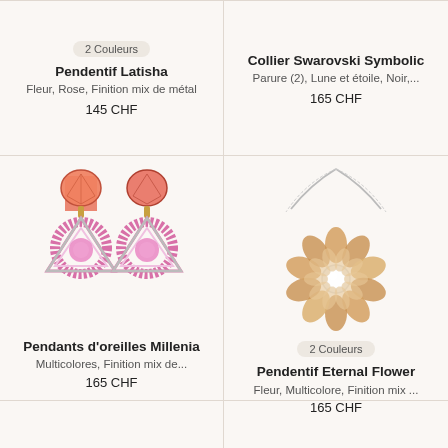[Figure (photo): Product card top-left: badge '2 Couleurs', Pendentif Latisha earring product, pink flower, rose, mixed metal finish]
Pendentif Latisha
Fleur, Rose, Finition mix de métal
145 CHF
[Figure (photo): Product card top-right: Collier Swarovski Symbolic necklace, moon and star, black]
Collier Swarovski Symbolic
Parure (2), Lune et étoile, Noir,...
165 CHF
[Figure (photo): Pendants d'oreilles Millenia: large drop earrings with orange/peach heart crystals on top and pink crystal triangular drops, multicolor mixed metal finish]
Pendants d'oreilles Millenia
Multicolores, Finition mix de...
165 CHF
[Figure (photo): Pendentif Eternal Flower: flower pendant necklace with multicolor petals on silver chain, badge '2 Couleurs']
Pendentif Eternal Flower
Fleur, Multicolore, Finition mix ...
165 CHF